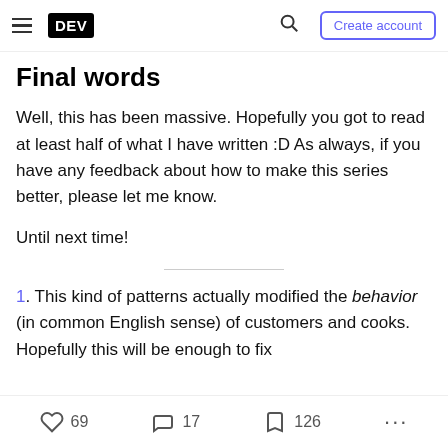DEV — Create account
Final words
Well, this has been massive. Hopefully you got to read at least half of what I have written :D As always, if you have any feedback about how to make this series better, please let me know.
Until next time!
1. This kind of patterns actually modified the behavior (in common English sense) of customers and cooks. Hopefully this will be enough to fix
69 likes  17 comments  126 bookmarks